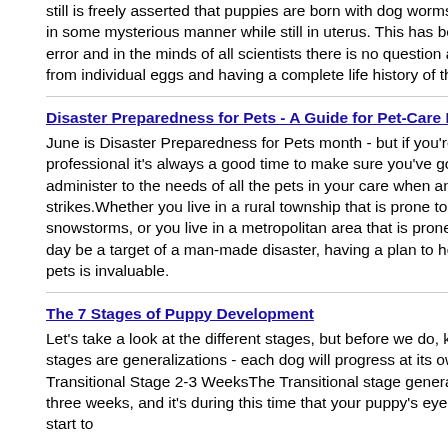still is freely asserted that puppies are born with dog worms inherited from the mother in some mysterious manner while still in uterus. This has been conclusively proven an error and in the minds of all scientists there is no question about dog worms springing from individual eggs and having a complete life history of their own.
Disaster Preparedness for Pets - A Guide for Pet-Care Business Professionals
June is Disaster Preparedness for Pets month - but if you're a pet-care business professional it's always a good time to make sure you've got a plan in place to administer to the needs of all the pets in your care when and if a disaster strikes.Whether you live in a rural township that is prone to flooding, hurricanes or snowstorms, or you live in a metropolitan area that is prone to the above or may one day be a target of a man-made disaster, having a plan to help your clients and their pets is invaluable.
The 7 Stages of Puppy Development
Let's take a look at the different stages, but before we do, keep in mind that these stages are generalizations - each dog will progress at its own pace.Stage 1: The Transitional Stage 2-3 WeeksThe Transitional stage generally lasts from age two to three weeks, and it's during this time that your puppy's eyes will open, and he'll slowly start to